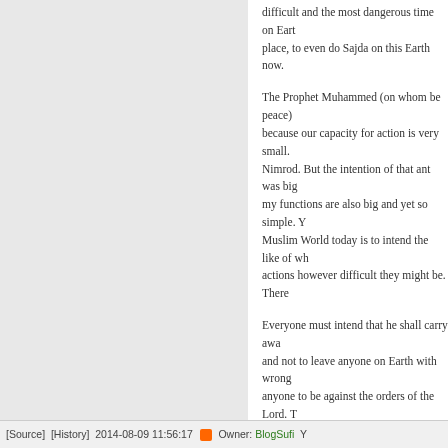difficult and the most dangerous time on Earth. place, to even do Sajda on this Earth now.
The Prophet Muhammed (on whom be peace) because our capacity for action is very small. Nimrod. But the intention of that ant was big my functions are also big and yet so simple. Y Muslim World today is to intend the like of wh actions however difficult they might be. There
Everyone must intend that he shall carry awa and not to leave anyone on Earth with wrong anyone to be against the orders of the Lord. T
WebSheikNazim2Com , Book99DropsFromEn
[Source]  [History]  2014-08-09 11:56:17  Owner: BlogSufi  Y